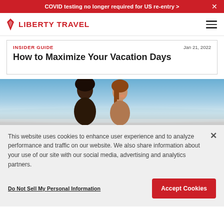COVID testing no longer required for US re-entry >
[Figure (logo): Liberty Travel logo with red diamond/flame icon and bold red text LIBERTY TRAVEL]
INSIDER GUIDE
Jan 21, 2022
How to Maximize Your Vacation Days
[Figure (photo): Two women smiling at the beach, blue sky and ocean waves behind them]
This website uses cookies to enhance user experience and to analyze performance and traffic on our website. We also share information about your use of our site with our social media, advertising and analytics partners.
Do Not Sell My Personal Information
Accept Cookies